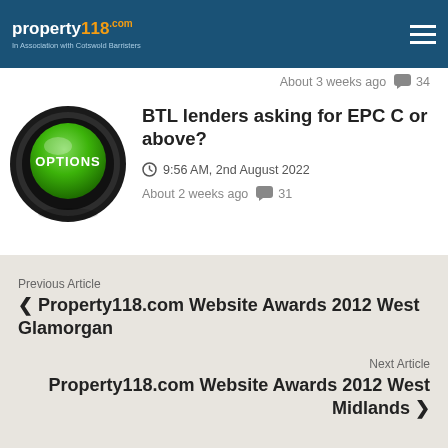property118.com — In Association with Cotswold Barristers
About 3 weeks ago  34
BTL lenders asking for EPC C or above?
9:56 AM, 2nd August 2022
About 2 weeks ago  31
Previous Article
< Property118.com Website Awards 2012 West Glamorgan
Next Article
Property118.com Website Awards 2012 West Midlands >